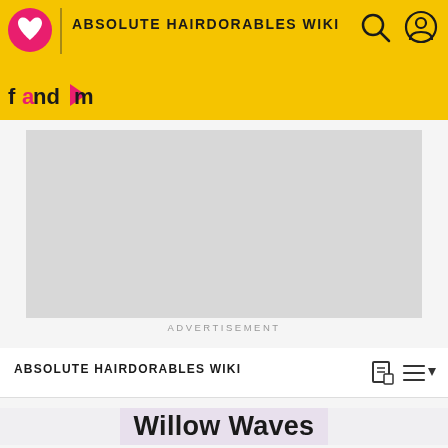ABSOLUTE HAIRDORABLES WIKI
[Figure (screenshot): Advertisement placeholder box (light gray rectangle) with ADVERTISEMENT label below]
ADVERTISEMENT
ABSOLUTE HAIRDORABLES WIKI
Willow Waves